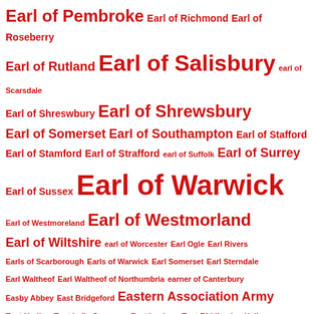Earl of Pembroke Earl of Richmond Earl of Roseberry Earl of Rutland Earl of Salisbury earl of Scarsdale Earl of Shreswbury Earl of Shrewsbury Earl of Somerset Earl of Southampton Earl of Stafford Earl of Stamford Earl of Strafford earl of Suffolk Earl of Surrey Earl of Sussex Earl of Warwick Earl of Westmoreland Earl of Westmorland Earl of Wiltshire earl of Worcester Earl Ogle Earl Rivers Earls of Scarborough Earls of Warwick Earl Somerset Earl Sterndale Earl Waltheof Earl Waltheof of Northumbria earner of Canterbury Easby Abbey East Bridgeford Eastern Association Army East Harling East India Company East Lenham East Riddlesdon Hall Ecclefechan ecclesiastical architectural periods Edenhall Edgar Edgar the Atheling Edgar the Peaceful edible dormice Edinburgh Edinburgh Carriers Edinburgh Castle Edith Fitzherbert of Norbury Edith Godwinson Edith of Dunfermline Edith of Mercia Edith of Scotland Edith of Willesford